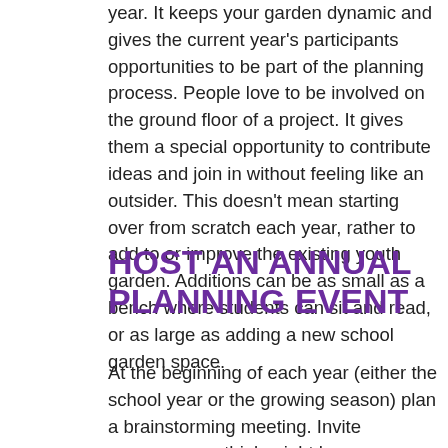year. It keeps your garden dynamic and gives the current year's participants opportunities to be part of the planning process. People love to be involved on the ground floor of a project. It gives them a special opportunity to contribute ideas and join in without feeling like an outsider. This doesn't mean starting over from scratch each year, rather to add to or improve the existing youth garden. Additions can be as small as a bench where students can sit and read, or as large as adding a new school garden space.
HOST AN ANNUAL PLANNING EVENT
At the beginning of each year (either the school year or the growing season) plan a brainstorming meeting. Invite everyone you think might have an interest in your youth garden: students, parents, teachers, school administrators and custodians, and community